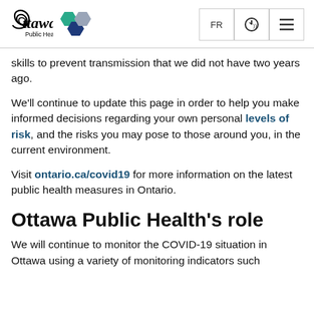[Figure (logo): Ottawa Public Health logo with stylized swirl, Ottawa wordmark in italic, 'Public Health' text below, and three hexagons (teal, dark blue, grey) to the right]
skills to prevent transmission that we did not have two years ago.
We'll continue to update this page in order to help you make informed decisions regarding your own personal levels of risk, and the risks you may pose to those around you, in the current environment.
Visit ontario.ca/covid19 for more information on the latest public health measures in Ontario.
Ottawa Public Health's role
We will continue to monitor the COVID-19 situation in Ottawa using a variety of monitoring indicators such